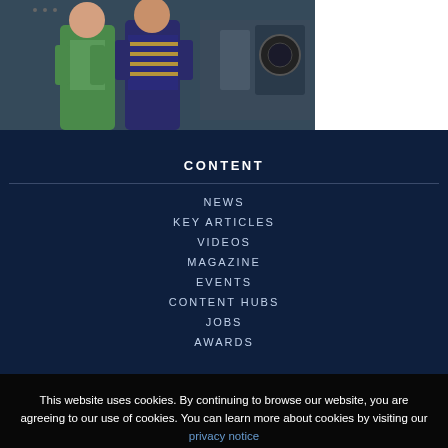[Figure (photo): Two women standing in what appears to be a manufacturing or industrial environment. One wearing a green jacket with arms crossed, the other in a striped outfit.]
CONTENT
NEWS
KEY ARTICLES
VIDEOS
MAGAZINE
EVENTS
CONTENT HUBS
JOBS
AWARDS
This website uses cookies. By continuing to browse our website, you are agreeing to our use of cookies. You can learn more about cookies by visiting our privacy notice page.
Accept